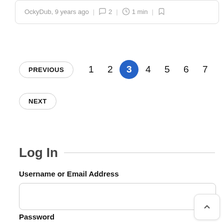OckyDub, 9 years ago | 2 | 1 min |
PREVIOUS 1 2 3 4 5 6 7
NEXT
Log In
Username or Email Address
Password